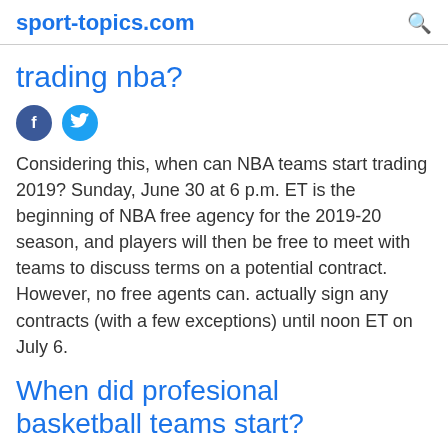sport-topics.com
trading nba?
Considering this, when can NBA teams start trading 2019? Sunday, June 30 at 6 p.m. ET is the beginning of NBA free agency for the 2019-20 season, and players will then be free to meet with teams to discuss terms on a potential contract. However, no free agents can. actually sign any contracts (with a few exceptions) until noon ET on July 6.
When did profesional basketball teams start?